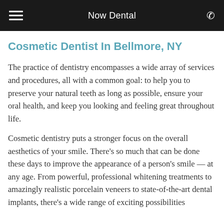Now Dental
Cosmetic Dentist In Bellmore, NY
The practice of dentistry encompasses a wide array of services and procedures, all with a common goal: to help you to preserve your natural teeth as long as possible, ensure your oral health, and keep you looking and feeling great throughout life.
Cosmetic dentistry puts a stronger focus on the overall aesthetics of your smile. There's so much that can be done these days to improve the appearance of a person's smile — at any age. From powerful, professional whitening treatments to amazingly realistic porcelain veneers to state-of-the-art dental implants, there's a wide range of exciting possibilities